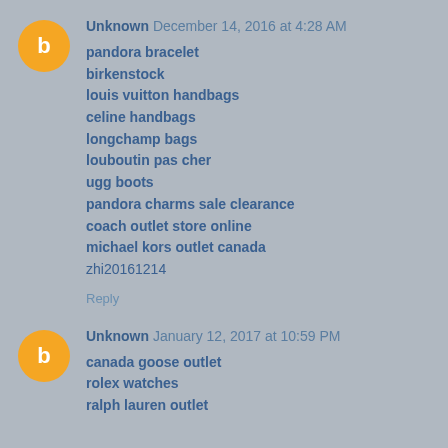Unknown December 14, 2016 at 4:28 AM
pandora bracelet
birkenstock
louis vuitton handbags
celine handbags
longchamp bags
louboutin pas cher
ugg boots
pandora charms sale clearance
coach outlet store online
michael kors outlet canada
zhi20161214
Reply
Unknown January 12, 2017 at 10:59 PM
canada goose outlet
rolex watches
ralph lauren outlet